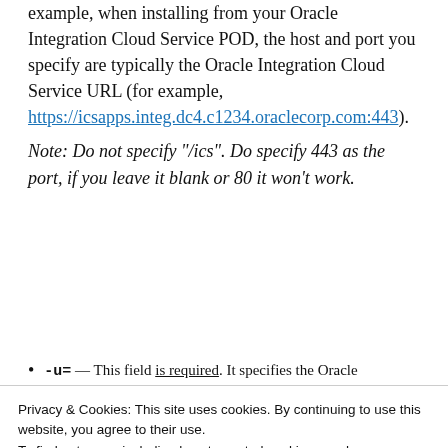example, when installing from your Oracle Integration Cloud Service POD, the host and port you specify are typically the Oracle Integration Cloud Service URL (for example, https://icsapps.integ.dc4.c1234.oraclecorp.com:443).
Note: Do not specify "/ics". Do specify 443 as the port, if you leave it blank or 80 it won't work.
-u= — This field is required. It specifies the Oracle
Privacy & Cookies: This site uses cookies. By continuing to use this website, you agree to their use.
To find out more, including how to control cookies, see here:
Cookie Policy